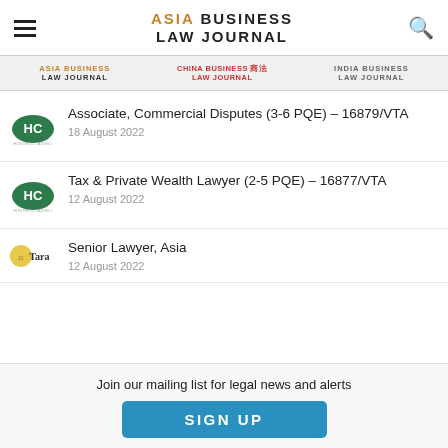ASIA BUSINESS LAW JOURNAL
[Figure (logo): Asia Business Law Journal logo, China Business Law Journal logo, India Business Law Journal logo]
Associate, Commercial Disputes (3-6 PQE) – 16879/VTA | 18 August 2022
Tax & Private Wealth Lawyer (2-5 PQE) – 16877/VTA | 12 August 2022
Senior Lawyer, Asia | 12 August 2022
Join our mailing list for legal news and alerts
SIGN UP